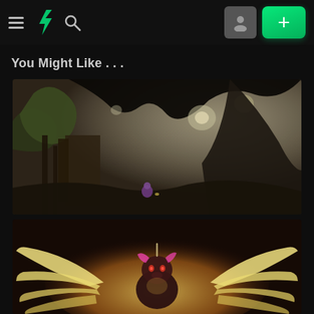DeviantArt navigation bar with hamburger menu, DA logo, search icon, profile button, and add (+) button
You Might Like . . .
[Figure (illustration): Fantasy digital art showing a dark, moody landscape with rocky formations, glowing lights, trees, ruins, and a small purple pony character in the foreground]
[Figure (illustration): Digital art showing a pony character with glowing wings spread wide, dramatic lighting with warm yellow tones, facing forward with a determined expression]